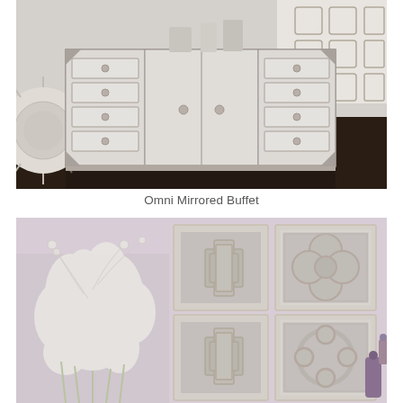[Figure (photo): Omni Mirrored Buffet — a large mirrored sideboard with silver trim, featuring four drawers on each side and two central cabinet doors with round crystal knobs, displayed in a room setting with decorative mirrors in the background.]
Omni Mirrored Buffet
[Figure (photo): Wall art display in a mauve/pink room showing four mirrored decorative wall panels — two with geometric quatrefoil/clover cutout designs and two with overlapping square designs — arranged in a 2x2 grid, alongside white floral arrangements and small purple decorative bottles.]